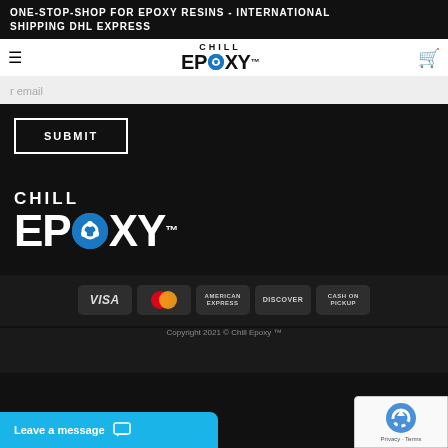ONE-STOP-SHOP FOR EPOXY RESINS - INTERNATIONAL SHIPPING DHL EXPRESS
[Figure (logo): Chill Epoxy logo with hamburger menu and cart icon in navigation bar]
r email
SUBMIT
[Figure (logo): Chill Epoxy large white logo on black background]
[Figure (infographic): Payment method badges: VISA, MasterCard, American Express, Discover, Cash on Pickup]
Copyright 2021 © Chill Epoxy ™
Leave a message